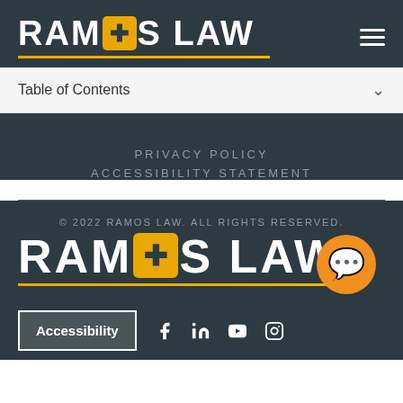[Figure (logo): Ramos Law logo with cross icon, white bold text on dark background with gold underline]
Table of Contents
PRIVACY POLICY
ACCESSIBILITY STATEMENT
© 2022 RAMOS LAW. ALL RIGHTS RESERVED.
[Figure (logo): Ramos Law footer logo large white bold text with gold underline and orange chat bubble icon]
Accessibility
[Figure (other): Social media icons: Facebook, LinkedIn, YouTube, Instagram]